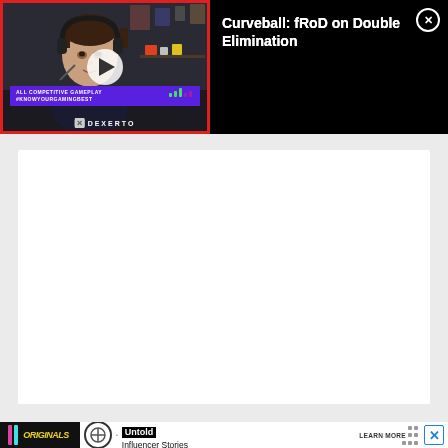[Figure (screenshot): Video player UI showing a person wearing headphones in a dark gaming setup. Shows Curveball logo at top, purple lower-third banner, Dexerto branding, and a play button in center. Title area on right reads 'Curveball: fRoD on Double Elimination' with a close (X) button.]
Curveball: fRoD on Double Elimination
[Figure (screenshot): Advertisement banner at bottom: TikTok Originals logo on left, 'Untold Influencer Stories' text in center, 'LEARN MORE' call to action on right, blue X close button.]